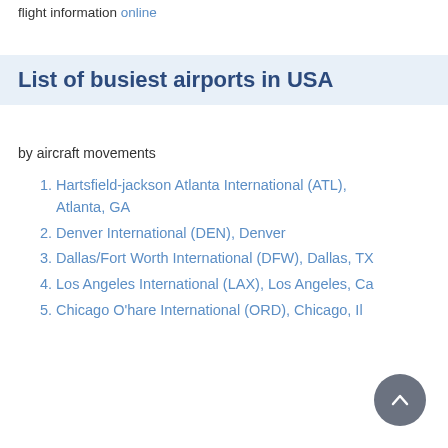flight information online
List of busiest airports in USA
by aircraft movements
Hartsfield-jackson Atlanta International (ATL), Atlanta, GA
Denver International (DEN), Denver
Dallas/Fort Worth International (DFW), Dallas, TX
Los Angeles International (LAX), Los Angeles, Ca
Chicago O'hare International (ORD), Chicago, Il